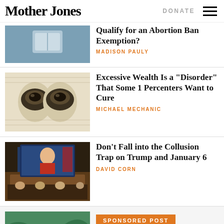Mother Jones | DONATE
[Figure (photo): Partial view of a hospital/medical image at top]
Qualify for an Abortion Ban Exemption?
MADISON PAULY
[Figure (photo): Close-up of Benjamin Franklin's eyes on a dollar bill]
Excessive Wealth Is a "Disorder" That Some 1 Percenters Want to Cure
MICHAEL MECHANIC
[Figure (photo): Photo of a Congressional hearing room with Trump on a large screen]
Don’t Fall into the Collusion Trap on Trump and January 6
DAVID CORN
[Figure (photo): Partial sponsored post thumbnail with green/wave image]
SPONSORED POST